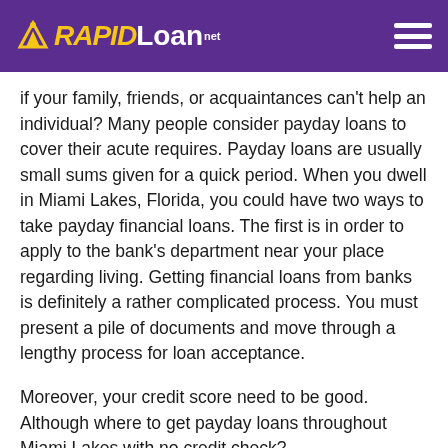RAPIDLoan.net
if your family, friends, or acquaintances can't help an individual? Many people consider payday loans to cover their acute requires. Payday loans are usually small sums given for a quick period. When you dwell in Miami Lakes, Florida, you could have two ways to take payday financial loans. The first is in order to apply to the bank's department near your place regarding living. Getting financial loans from banks is definitely a rather complicated process. You must present a pile of documents and move through a lengthy process for loan acceptance.
Moreover, your credit score need to be good. Although where to get payday loans throughout Miami Lakes with no credit check?